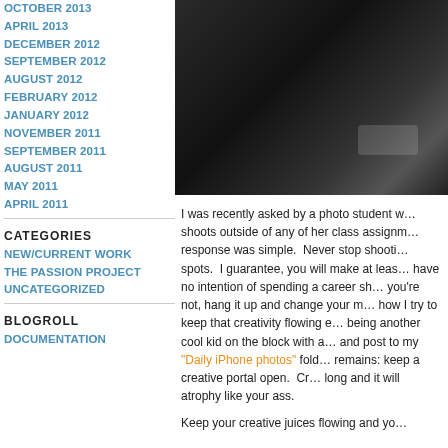OCTOBER 2013
APRIL 2013
DECEMBER 2012
SEPTEMBER 2012
AUGUST 2012
FEBRUARY 2012
JANUARY 2012
NOVEMBER 2011
SEPTEMBER 2011
AUGUST 2011
MAY 2011
APRIL 2011
CATEGORIES
NEW/CURRENT WORK
THE PASSION PROJECT
UNCATEGORIZED
BLOGROLL
DOCUMENTATION
[Figure (photo): Dark close-up photograph, abstract dark tones with slight highlight]
I was recently asked by a photo student w… shoots outside of any of her class assignm… response was simple.  Never stop shooti… spots.  I guarantee, you will make at leas… have no intention of spending a career sh… you're not, hang it up and change your m… how I try to keep that creativity flowing e… being another cool kid on the block with a… and post to my "Daily iPhone photos" fold… remains: keep a creative portal open.  Cr… long and it will atrophy like your ass.
Keep your creative juices flowing and yo…